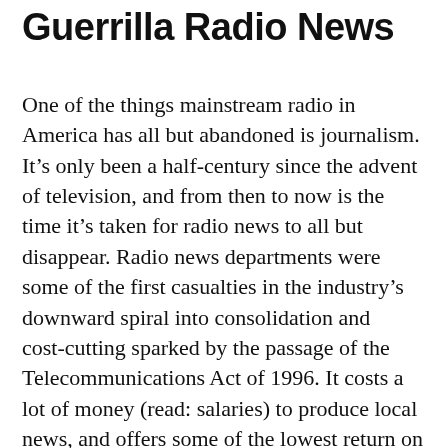Guerrilla Radio News
One of the things mainstream radio in America has all but abandoned is journalism. It’s only been a half-century since the advent of television, and from then to now is the time it’s taken for radio news to all but disappear. Radio news departments were some of the first casualties in the industry’s downward spiral into consolidation and cost-cutting sparked by the passage of the Telecommunications Act of 1996. It costs a lot of money (read: salaries) to produce local news, and offers some of the lowest return on investment (read: ad rates). As an independent media movement took root at the end of the last century, activists